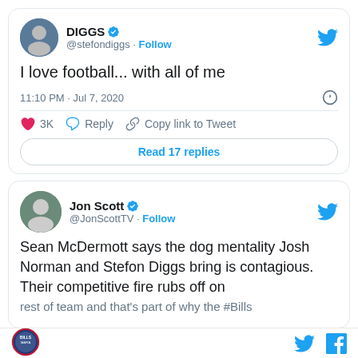[Figure (screenshot): Tweet from @stefondiggs (DIGGS) with verified badge. Tweet text: 'I love football... with all of me'. Timestamp: 11:10 PM · Jul 7, 2020. Likes: 3K. Actions: Reply, Copy link to Tweet. Button: Read 17 replies.]
[Figure (screenshot): Tweet from @JonScottTV (Jon Scott) with verified badge. Tweet text: 'Sean McDermott says the dog mentality Josh Norman and Stefon Diggs bring is contagious. Their competitive fire rubs off on rest of team and that's part of why the #Bills...' (truncated)]
Twitter and Facebook icons with a sports logo on the left